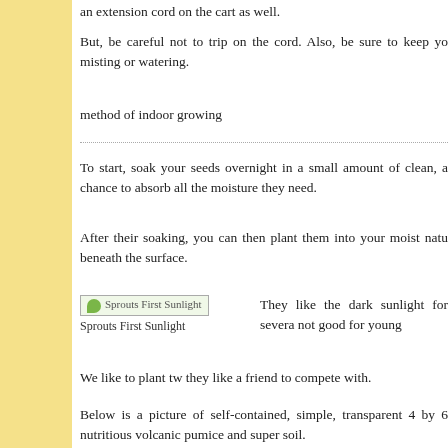an extension cord on the cart as well.
But, be careful not to trip on the cord. Also, be sure to keep yo misting or watering.
method of indoor growing
To start, soak your seeds overnight in a small amount of clean, a chance to absorb all the moisture they need.
After their soaking, you can then plant them into your moist natu beneath the surface.
[Figure (photo): Sprouts First Sunlight image placeholder with green leaf icon]
Sprouts First Sunlight
They like the dark sunlight for severa not good for young
We like to plant tw they like a friend to compete with.
Below is a picture of self-contained, simple, transparent 4 by 6 nutritious volcanic pumice and super soil.
The soil is reusable year after year and will retain nutrients.
Each container is watered through the straw – the water ge pumice reservoir. The special, natural soil remains moist and jus